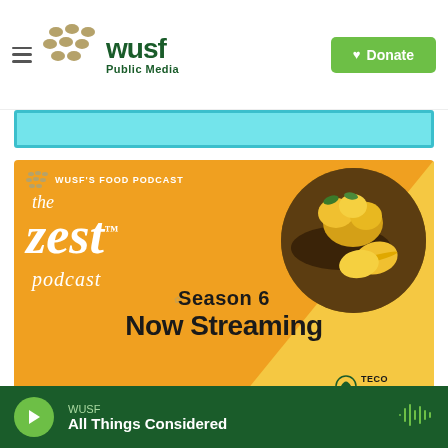[Figure (screenshot): WUSF Public Media website screenshot showing header with hamburger menu, WUSF Public Media logo, Donate button, a banner image, and The Zest Podcast Season 6 Now Streaming promotional image with lemons, sponsored by Seitenbacher and TECO Peoples Gas. Bottom bar shows WUSF All Things Considered player.]